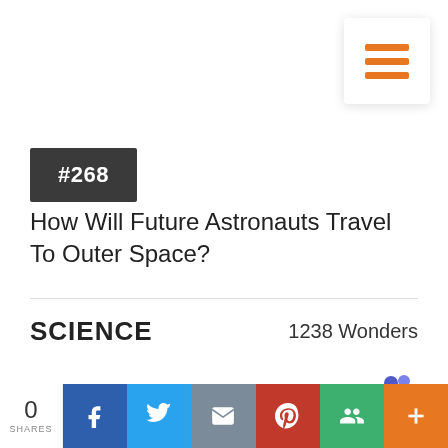[Figure (other): Orange hamburger menu icon in a white rounded square box, top right corner]
#268
How Will Future Astronauts Travel To Outer Space?
SCIENCE
1238 Wonders
[Figure (logo): Microsoft Teams purple logo icon]
0 SHARES | Facebook | Twitter | Email | Pinterest | Google+ | More